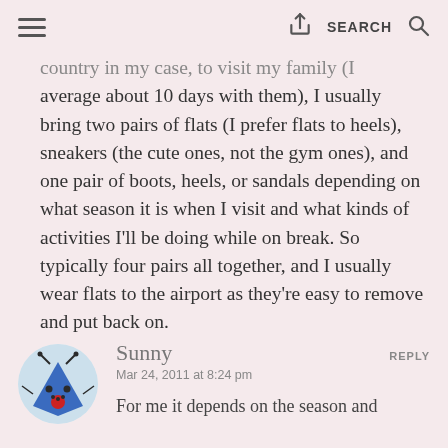≡  [share icon]  SEARCH  [search icon]
country in my case, to visit my family (I average about 10 days with them), I usually bring two pairs of flats (I prefer flats to heels), sneakers (the cute ones, not the gym ones), and one pair of boots, heels, or sandals depending on what season it is when I visit and what kinds of activities I'll be doing while on break. So typically four pairs all together, and I usually wear flats to the airport as they're easy to remove and put back on.
Sunny
Mar 24, 2011 at 8:24 pm
REPLY
For me it depends on the season and